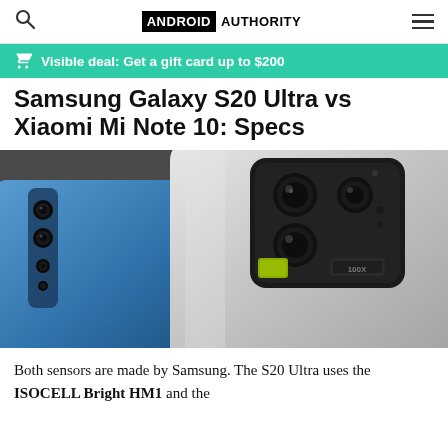ANDROID AUTHORITY
Visible deal: Get a gift card up to $200
Samsung Galaxy S20 Ultra vs Xiaomi Mi Note 10: Specs
[Figure (photo): Close-up rear view of two smartphones side by side: a blue/teal Xiaomi Mi Note 10 on the left and a silver Samsung Galaxy S20 Ultra on the right, showing their camera modules. The Samsung has a large rectangular camera bump labeled 100X.]
Both sensors are made by Samsung. The S20 Ultra uses the ISOCELL Bright HM1 and the